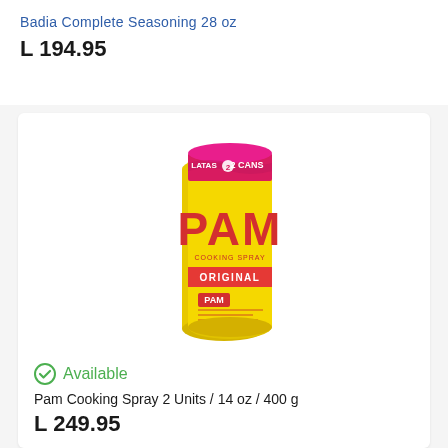Badia Complete Seasoning 28 oz
L 194.95
[Figure (photo): PAM Original Cooking Spray 2 cans (2 LATAS / 2 CANS) pack, yellow cans with red PAM branding and ORIGINAL label, 14 oz / 400 g each]
Available
Pam Cooking Spray 2 Units / 14 oz / 400 g
L 249.95